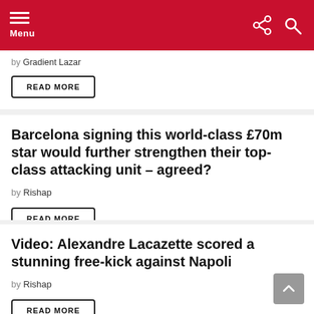Menu
by Gradient Lazar
READ MORE
Barcelona signing this world-class £70m star would further strengthen their top-class attacking unit – agreed?
by Rishap
READ MORE
Video: Alexandre Lacazette scored a stunning free-kick against Napoli
by Rishap
READ MORE